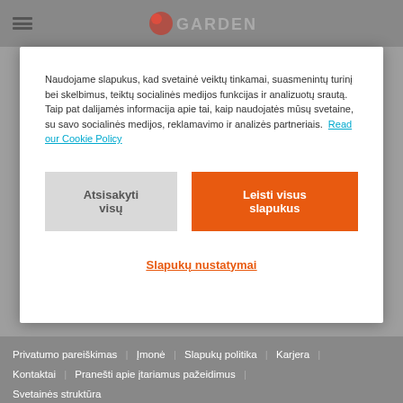[Figure (screenshot): GARDENA website header with hamburger menu icon and logo on grey background]
Naudojame slapukus, kad svetainė veiktų tinkamai, suasmenintų turinį bei skelbimus, teiktų socialinės medijos funkcijas ir analizuotų srautą. Taip pat dalijamės informacija apie tai, kaip naudojatės mūsų svetaine, su savo socialinės medijos, reklamavimo ir analizės partneriais. Read our Cookie Policy
Atsisakyti visų
Leisti visus slapukus
Slapukų nustatymai
Privatumo pareiškimas | Įmonė | Slapukų politika | Karjera | Kontaktai | Pranešti apie įtariamus pažeidimus | Svetainės struktūra
Autoriaus teisės© 2008-2022 GARDENA